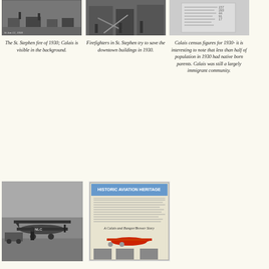[Figure (photo): Black and white photo of the St. Stephen fire of 1930, showing street scene with early automobiles. Caption reads 'St Jan 12, 1930'.]
[Figure (photo): Black and white photo of firefighters in St. Stephen trying to save downtown buildings in 1930.]
[Figure (photo): Black and white image of Calais census figures document for 1930.]
The St. Stephen fire of 1930; Calais is visible in the background.
Firefighters in St. Stephen try to save the downtown buildings in 1930.
Calais census figures for 1930- it is interesting to note that less than half of population in 1930 had native born parents. Calais was still a largely immigrant community.
[Figure (photo): Black and white photo of a biplane on the ground with a person standing beside it, car visible nearby. Plane has 'NLC' marking.]
[Figure (photo): Photo of an informational sign or display board about aviation history, featuring text and images including a red airplane.]